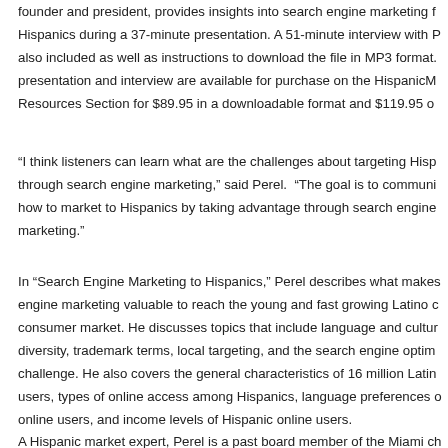founder and president, provides insights into search engine marketing to Hispanics during a 37-minute presentation. A 51-minute interview with P is also included as well as instructions to download the file in MP3 format. The presentation and interview are available for purchase on the HispanicM Resources Section for $89.95 in a downloadable format and $119.95 o
“I think listeners can learn what are the challenges about targeting Hisp through search engine marketing,” said Perel.  “The goal is to communi how to market to Hispanics by taking advantage through search engine marketing.”
In “Search Engine Marketing to Hispanics,” Perel describes what makes engine marketing valuable to reach the young and fast growing Latino c consumer market. He discusses topics that include language and cultur diversity, trademark terms, local targeting, and the search engine optim challenge. He also covers the general characteristics of 16 million Latin users, types of online access among Hispanics, language preferences o online users, and income levels of Hispanic online users.
A Hispanic market expert, Perel is a past board member of the Miami ch